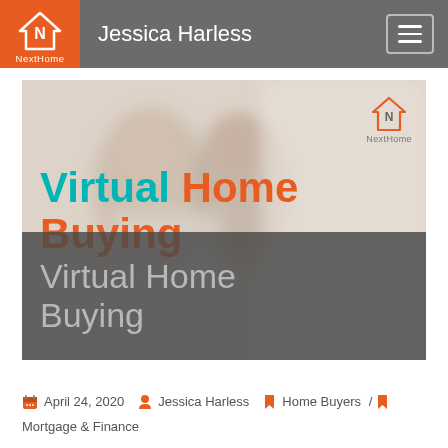Jessica Harless
[Figure (photo): Hero image showing an older couple smiling, looking at a tablet, with blurred background. Overlaid text reads 'Virtual Home Buying' in teal and orange, with a semi-transparent dark panel showing 'Virtual Home Buying' in grey text. NextHome logo in top-right corner of image.]
April 24, 2020   Jessica Harless   Home Buyers / Mortgage & Finance